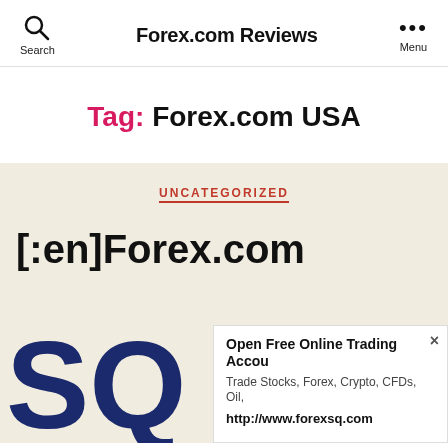Search | Forex.com Reviews | Menu
Tag: Forex.com USA
UNCATEGORIZED
[:en]Forex.com
[Figure (screenshot): Dark blue SQ letters on a beige/cream background]
Open Free Online Trading Accou
Trade Stocks, Forex, Crypto, CFDs, Oil,
http://www.forexsq.com